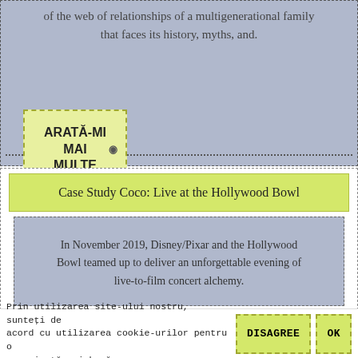of the web of relationships of a multigenerational family that faces its history, myths, and.
ARATĂ-MI MAI MULTE
Case Study Coco: Live at the Hollywood Bowl
In November 2019, Disney/Pixar and the Hollywood Bowl teamed up to deliver an unforgettable evening of live-to-film concert alchemy.
Prin utilizarea site-ului nostru, sunteți de acord cu utilizarea cookie-urilor pentru o experiență mai bună.
DISAGREE
OK